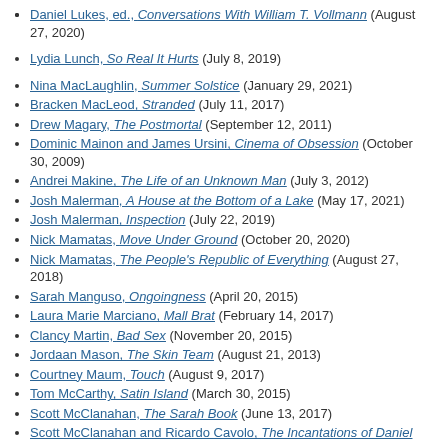Daniel Lukes, ed., Conversations With William T. Vollmann (August 27, 2020)
Lydia Lunch, So Real It Hurts (July 8, 2019)
Nina MacLaughlin, Summer Solstice (January 29, 2021)
Bracken MacLeod, Stranded (July 11, 2017)
Drew Magary, The Postmortal (September 12, 2011)
Dominic Mainon and James Ursini, Cinema of Obsession (October 30, 2009)
Andrei Makine, The Life of an Unknown Man (July 3, 2012)
Josh Malerman, A House at the Bottom of a Lake (May 17, 2021)
Josh Malerman, Inspection (July 22, 2019)
Nick Mamatas, Move Under Ground (October 20, 2020)
Nick Mamatas, The People's Republic of Everything (August 27, 2018)
Sarah Manguso, Ongoingness (April 20, 2015)
Laura Marie Marciano, Mall Brat (February 14, 2017)
Clancy Martin, Bad Sex (November 20, 2015)
Jordaan Mason, The Skin Team (August 21, 2013)
Courtney Maum, Touch (August 9, 2017)
Tom McCarthy, Satin Island (March 30, 2015)
Scott McClanahan, The Sarah Book (June 13, 2017)
Scott McClanahan and Ricardo Cavolo, The Incantations of Daniel